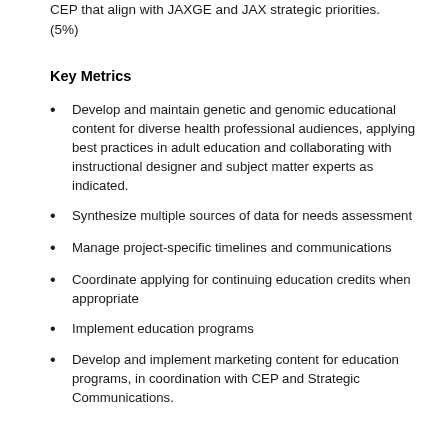CEP that align with JAXGE and JAX strategic priorities. (5%)
Key Metrics
Develop and maintain genetic and genomic educational content for diverse health professional audiences, applying best practices in adult education and collaborating with instructional designer and subject matter experts as indicated.
Synthesize multiple sources of data for needs assessment
Manage project-specific timelines and communications
Coordinate applying for continuing education credits when appropriate
Implement education programs
Develop and implement marketing content for education programs, in coordination with CEP and Strategic Communications.